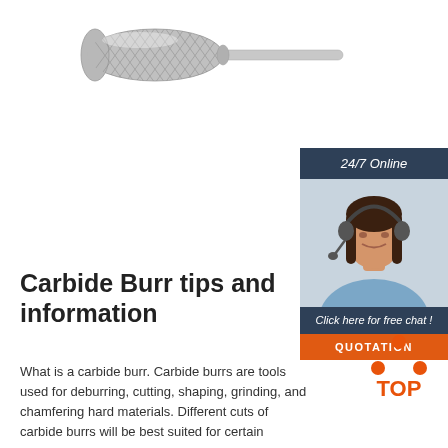[Figure (photo): A carbide burr rotary tool — cylindrical/oval shaped cutting head with crosshatch pattern, attached to a long thin shank, shown horizontally on white background.]
[Figure (infographic): Sidebar widget: dark navy header reading '24/7 Online' with italic text, below it a photo of a smiling woman with a headset, then a dark navy box with italic text 'Click here for free chat!', then an orange button reading 'QUOTATION'.]
Carbide Burr tips and information
What is a carbide burr. Carbide burrs are tools used for deburring, cutting, shaping, grinding, and chamfering hard materials. Different cuts of carbide burrs will be best suited for certain materials. Carbide burrs are used in air tools such as die grinders, pneumatic rotary tools and high-speed
[Figure (logo): Orange 'TOP' badge with three orange dots arranged in triangle above the word TOP in bold orange letters.]